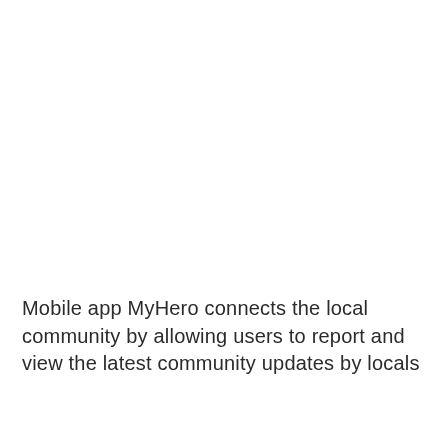Mobile app MyHero connects the local community by allowing users to report and view the latest community updates by locals